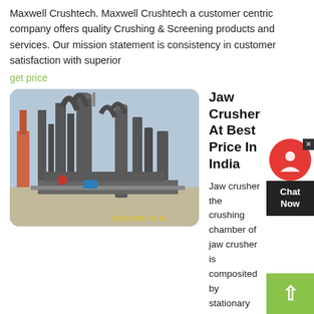Maxwell Crushtech. Maxwell Crushtech a customer centric company offers quality Crushing & Screening products and services. Our mission statement is consistency in customer satisfaction with superior
get price
[Figure (photo): Industrial jaw crusher and screening plant facility with large metal structures, conveyor belts, and dust collectors. Timestamp visible in lower right corner.]
Jaw Crusher At Best Price In India
Jaw crusher the crushing chamber of jaw crusher is composited by stationary jaw and movable jaw.the crushing work simulates the movement of animals which use two jaw crushers to crush materials. Jaw crusher is widely used in quarry, mining, metallurgy industry, building material, highway, railway and
get price
[Figure (photo): Industrial jaw crusher equipment, partially visible at the bottom of the page.]
Jaw Crusher Exporters